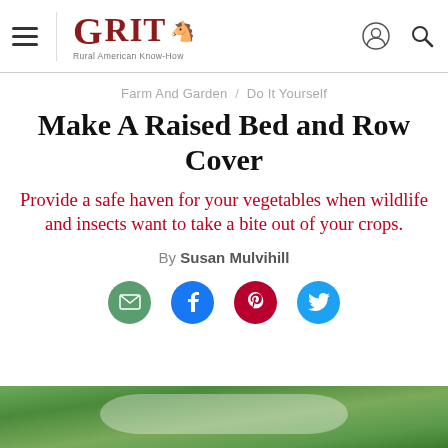GRIT — Rural American Know-How
Farm And Garden / Do It Yourself
Make A Raised Bed and Row Cover
Provide a safe haven for your vegetables when wildlife and insects want to take a bite out of your crops.
By Susan Mulvihill
[Figure (illustration): Social sharing icons: email (green circle), Facebook (blue circle), Pinterest (dark red circle), Twitter (light blue circle)]
[Figure (photo): Bottom cropped photo showing a raised garden bed with row cover, greenery visible]